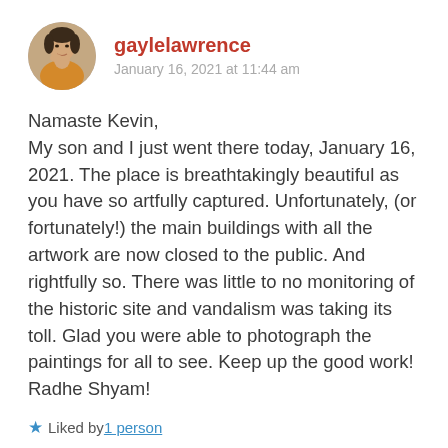[Figure (photo): Circular avatar photo of a woman with short dark hair, wearing an orange/yellow top, resting her chin on her hand.]
gaylelawrence
January 16, 2021 at 11:44 am
Namaste Kevin,
My son and I just went there today, January 16, 2021. The place is breathtakingly beautiful as you have so artfully captured. Unfortunately, (or fortunately!) the main buildings with all the artwork are now closed to the public. And rightfully so. There was little to no monitoring of the historic site and vandalism was taking its toll. Glad you were able to photograph the paintings for all to see. Keep up the good work! Radhe Shyam!
Liked by 1 person
REPLY